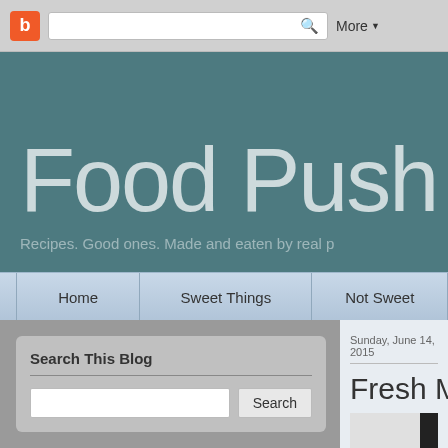[Figure (screenshot): Browser chrome bar with Blogger icon, search box, and More button]
Food Push
Recipes. Good ones. Made and eaten by real p
[Figure (screenshot): Navigation bar with Home, Sweet Things, Not Sweet menu items]
Search This Blog
Popular Posts
Chile Colorado Burritos
Sunday, June 14, 2015
Fresh Mar